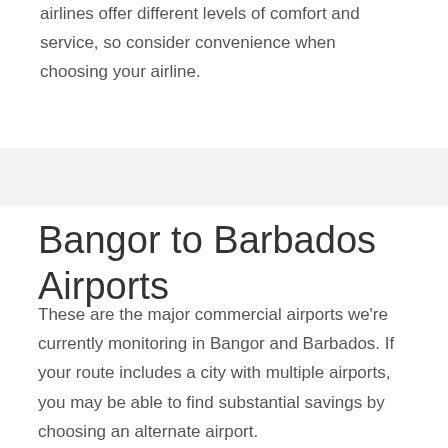airlines offer different levels of comfort and service, so consider convenience when choosing your airline.
Bangor to Barbados Airports
These are the major commercial airports we're currently monitoring in Bangor and Barbados. If your route includes a city with multiple airports, you may be able to find substantial savings by choosing an alternate airport.